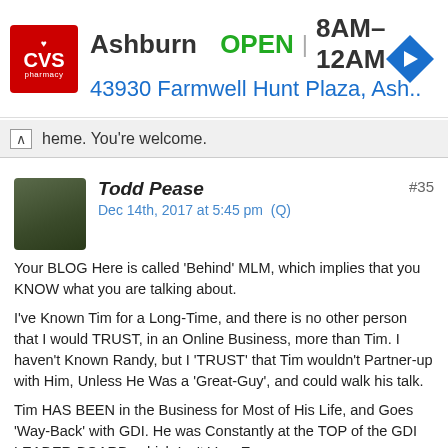[Figure (screenshot): CVS Pharmacy advertisement banner showing Ashburn location, OPEN 8AM-12AM, address 43930 Farmwell Hunt Plaza, Ash..., with CVS logo and blue navigation arrow diamond icon]
heme. You're welcome.
Todd Pease
Dec 14th, 2017 at 5:45 pm  (Q)
#35
Your BLOG Here is called 'Behind' MLM, which implies that you KNOW what you are talking about.

I've Known Tim for a Long-Time, and there is no other person that I would TRUST, in an Online Business, more than Tim. I haven't Known Randy, but I 'TRUST' that Tim wouldn't Partner-up with Him, Unless He Was a 'Great-Guy', and could walk his talk.

Tim HAS BEEN in the Business for Most of His Life, and Goes 'Way-Back' with GDI. He was Constantly at the TOP of the GDI LEADER-BOARD, which Isn't Very Easy.